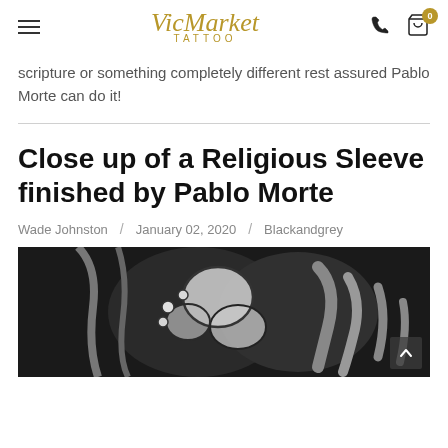VicMarket TATTOO
scripture or something completely different rest assured Pablo Morte can do it!
Close up of a Religious Sleeve finished by Pablo Morte
Wade Johnston / January 02, 2020 / Blackandgrey
[Figure (photo): Close-up black and white photo of a religious sleeve tattoo finished by Pablo Morte, showing detailed religious imagery on skin]